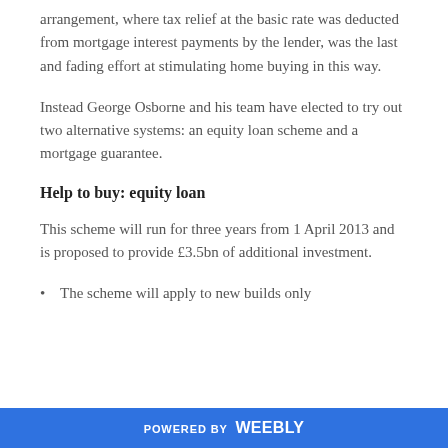arrangement, where tax relief at the basic rate was deducted from mortgage interest payments by the lender, was the last and fading effort at stimulating home buying in this way.
Instead George Osborne and his team have elected to try out two alternative systems: an equity loan scheme and a mortgage guarantee.
Help to buy: equity loan
This scheme will run for three years from 1 April 2013 and is proposed to provide £3.5bn of additional investment.
The scheme will apply to new builds only
POWERED BY weebly